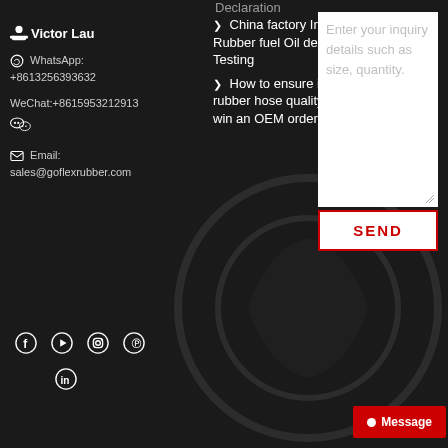Declaration
Victor Lau
WhatsApp: +8613256393632
WeChat:+8615953212913
Email: sales@goflexrubber.com
> China factory Industrial Rubber fuel Oil delivery Hose Testing
> How to ensure industrial rubber hose quality when JYM win an OEM order ?
Enter your inquiry details such as size, quantity.
SEND
Message